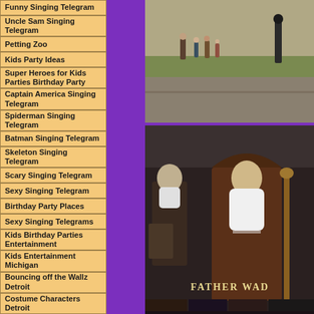Funny Singing Telegram
Uncle Sam Singing Telegram
Petting Zoo
Kids Party Ideas
Super Heroes for Kids Parties Birthday Party
Captain America Singing Telegram
Spiderman Singing Telegram
Batman Singing Telegram
Skeleton Singing Telegram
Scary Singing Telegram
Sexy Singing Telegram
Birthday Party Places
Sexy Singing Telegrams
Kids Birthday Parties Entertainment
Kids Entertainment Michigan
Bouncing off the Wallz Detroit
Costume Characters Detroit
[Figure (photo): Outdoor scene with people standing on a street or parking lot, grass in background]
[Figure (photo): Person dressed as Father Wad in brown robes with white beard holding a staff, with text 'FATHER WAD' visible]